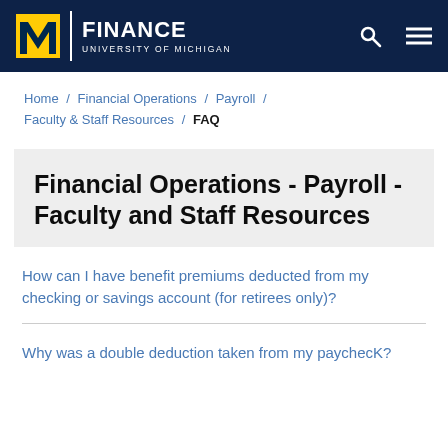FINANCE UNIVERSITY OF MICHIGAN
Home / Financial Operations / Payroll / Faculty & Staff Resources / FAQ
Financial Operations - Payroll - Faculty and Staff Resources
How can I have benefit premiums deducted from my checking or savings account (for retirees only)?
Why was a double deduction taken from my paychecK?